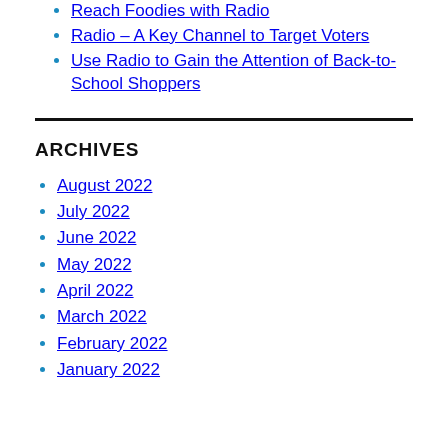Reach Foodies with Radio
Radio – A Key Channel to Target Voters
Use Radio to Gain the Attention of Back-to-School Shoppers
ARCHIVES
August 2022
July 2022
June 2022
May 2022
April 2022
March 2022
February 2022
January 2022